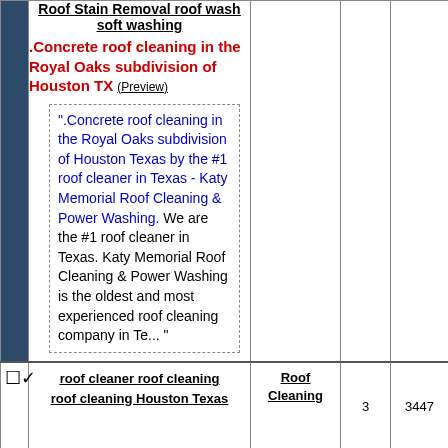Roof Stain Removal roof wash soft washing
.Concrete roof cleaning in the Royal Oaks subdivision of Houston TX (Preview)
“.Concrete roof cleaning in the Royal Oaks subdivision of Houston Texas by the #1 roof cleaner in Texas - Katy Memorial Roof Cleaning & Power Washing. We are the #1 roof cleaner in Texas. Katy Memorial Roof Cleaning & Power Washing is the oldest and most experienced roof cleaning company in Te... ”
|  | roof cleaner roof cleaning roof cleaning Houston Texas | Roof Cleaning | 3 | 3447 |
| --- | --- | --- | --- | --- |